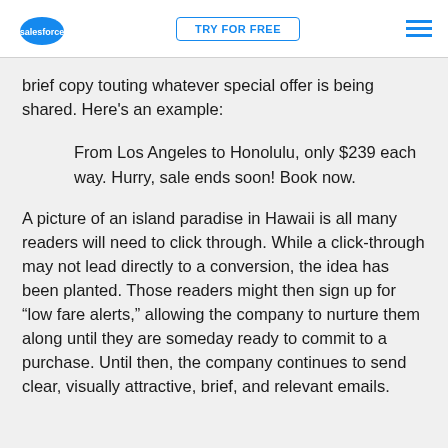salesforce | TRY FOR FREE | menu
brief copy touting whatever special offer is being shared. Here's an example:
From Los Angeles to Honolulu, only $239 each way. Hurry, sale ends soon! Book now.
A picture of an island paradise in Hawaii is all many readers will need to click through. While a click-through may not lead directly to a conversion, the idea has been planted. Those readers might then sign up for “low fare alerts,” allowing the company to nurture them along until they are someday ready to commit to a purchase. Until then, the company continues to send clear, visually attractive, brief, and relevant emails.